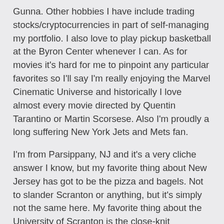Gunna. Other hobbies I have include trading stocks/cryptocurrencies in part of self-managing my portfolio. I also love to play pickup basketball at the Byron Center whenever I can. As for movies it's hard for me to pinpoint any particular favorites so I'll say I'm really enjoying the Marvel Cinematic Universe and historically I love almost every movie directed by Quentin Tarantino or Martin Scorsese. Also I'm proudly a long suffering New York Jets and Mets fan.
I'm from Parsippany, NJ and it's a very cliche answer I know, but my favorite thing about New Jersey has got to be the pizza and bagels. Not to slander Scranton or anything, but it's simply not the same here. My favorite thing about the University of Scranton is the close-knit community. I've met lifelong friends here and established connections that will help further me in my